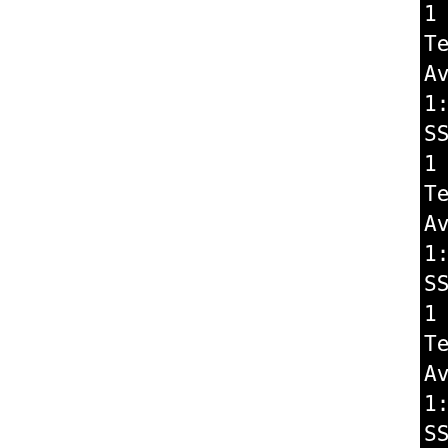[Figure (screenshot): Terminal/console output showing SSL/TLS cipher testing output on black background. The left portion of the page is white, and the right portion shows monospace text on black background. Lines shown include testing of RC4-MD5, DES-CBC3-SHA, NULL-SHA, NULL-MD5, and DHE-RSA-AES256-SHA ciphers, each with available compression methods and handshake info.]